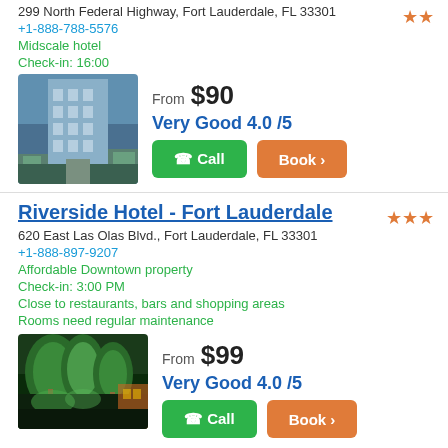299 North Federal Highway, Fort Lauderdale, FL 33301
+1-888-788-5576
Midscale hotel
Check-in: 16:00
[Figure (photo): Hotel building photo]
From $90
Very Good 4.0 /5
Call | Book
Riverside Hotel - Fort Lauderdale
620 East Las Olas Blvd., Fort Lauderdale, FL 33301
+1-888-897-9207
Affordable Downtown property
Check-in: 3:00 PM
Close to restaurants, bars and shopping areas
Rooms need regular maintenance
[Figure (photo): Hotel exterior night photo with trees]
From $99
Very Good 4.0 /5
Call | Book